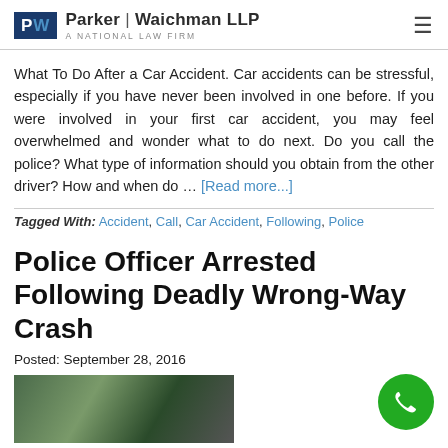Parker | Waichman LLP — A NATIONAL LAW FIRM
What To Do After a Car Accident. Car accidents can be stressful, especially if you have never been involved in one before. If you were involved in your first car accident, you may feel overwhelmed and wonder what to do next. Do you call the police? What type of information should you obtain from the other driver? How and when do … [Read more...]
Tagged With: Accident, Call, Car Accident, Following, Police
Police Officer Arrested Following Deadly Wrong-Way Crash
Posted: September 28, 2016
[Figure (photo): Photo of a car accident scene, showing a damaged vehicle outdoors]